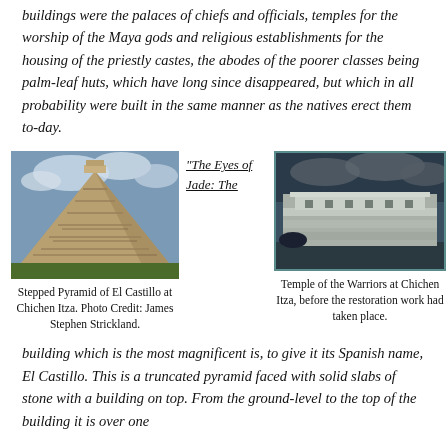buildings were the palaces of chiefs and officials, temples for the worship of the Maya gods and religious establishments for the housing of the priestly castes, the abodes of the poorer classes being palm-leaf huts, which have long since disappeared, but which in all probability were built in the same manner as the natives erect them to-day.
[Figure (photo): Stepped Pyramid of El Castillo at Chichen Itza, a large stone step pyramid against a cloudy sky.]
Stepped Pyramid of El Castillo at Chichen Itza. Photo Credit: James Stephen Strickland.
"The Eyes of Jade: The
[Figure (photo): Temple of the Warriors at Chichen Itza, before restoration work, shown as a large stone structure.]
Temple of the Warriors at Chichen Itza, before the restoration work had taken place.
building which is the most magnificent is, to give it its Spanish name, El Castillo. This is a truncated pyramid faced with solid slabs of stone with a building on top. From the ground-level to the top of the building it is over one